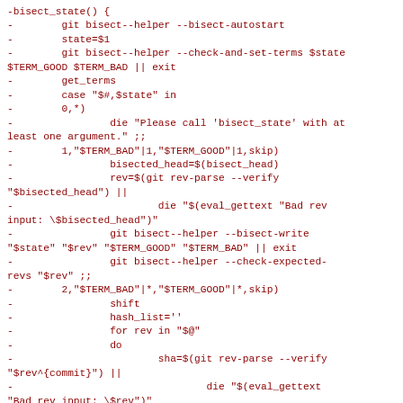-bisect_state() {
-        git bisect--helper --bisect-autostart
-        state=$1
-        git bisect--helper --check-and-set-terms $state $TERM_GOOD $TERM_BAD || exit
-        get_terms
-        case "$#,$state" in
-        0,*)
-                die "Please call 'bisect_state' with at least one argument." ;;
-        1,"$TERM_BAD"|1,"$TERM_GOOD"|1,skip)
-                bisected_head=$(bisect_head)
-                rev=$(git rev-parse --verify "$bisected_head") ||
-                        die "$(eval_gettext "Bad rev input: \$bisected_head")"
-                git bisect--helper --bisect-write "$state" "$rev" "$TERM_GOOD" "$TERM_BAD" || exit
-                git bisect--helper --check-expected-revs "$rev" ;;
-        2,"$TERM_BAD"|*,"$TERM_GOOD"|*,skip)
-                shift
-                hash_list=''
-                for rev in "$@"
-                do
-                        sha=$(git rev-parse --verify "$rev^{commit}") ||
-                                die "$(eval_gettext "Bad rev input: \$rev")"
-                        hash_list="$hash_list $sha"